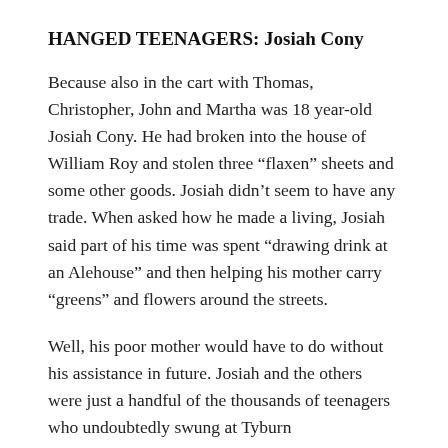HANGED TEENAGERS: Josiah Cony
Because also in the cart with Thomas, Christopher, John and Martha was 18 year-old Josiah Cony. He had broken into the house of William Roy and stolen three “flaxen” sheets and some other goods. Josiah didn’t seem to have any trade. When asked how he made a living, Josiah said part of his time was spent “drawing drink at an Alehouse” and then helping his mother carry “greens” and flowers around the streets.
Well, his poor mother would have to do without his assistance in future. Josiah and the others were just a handful of the thousands of teenagers who undoubtedly swung at Tyburn